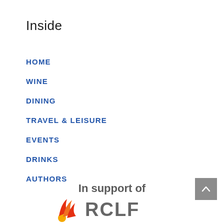Inside
HOME
WINE
DINING
TRAVEL & LEISURE
EVENTS
DRINKS
AUTHORS
In support of
[Figure (logo): RCLF logo with flame/wave icon in red/orange/yellow and bold grey text]